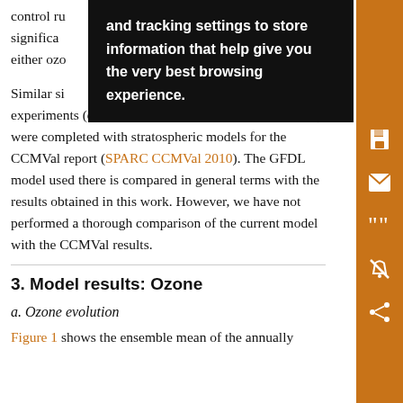control runs were not statistically significant for either ozone
Similar simulations spanning several long experiments (essentially 1960 to 2100 with all forcings) were completed with stratospheric models for the CCMVal report (SPARC CCMVal 2010). The GFDL model used there is compared in general terms with the results obtained in this work. However, we have not performed a thorough comparison of the current model with the CCMVal results.
3. Model results: Ozone
a. Ozone evolution
Figure 1 shows the ensemble mean of the annually